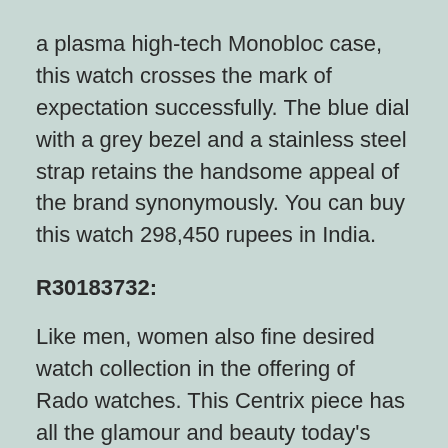a plasma high-tech Monobloc case, this watch crosses the mark of expectation successfully. The blue dial with a grey bezel and a stainless steel strap retains the handsome appeal of the brand synonymously. You can buy this watch 298,450 rupees in India.
R30183732:
Like men, women also fine desired watch collection in the offering of Rado watches. This Centrix piece has all the glamour and beauty today's women love to flaunt publicly. Breaking the conventional bondage, they set a new